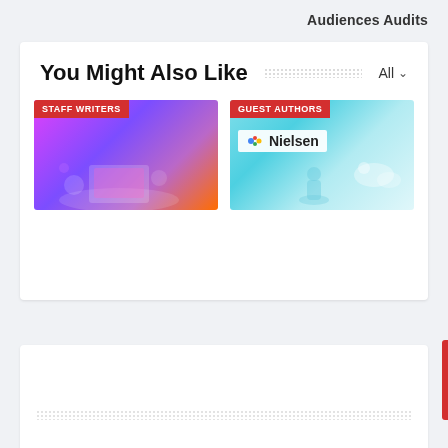Audiences Audits
You Might Also Like
[Figure (screenshot): Two article card thumbnails side by side: left card has purple/pink gradient with 'STAFF WRITERS' red badge, right card has teal/cyan background with Nielsen logo and 'GUEST AUTHORS' red badge]
[Figure (screenshot): White content card with dotted placeholder bar near bottom, partially visible]